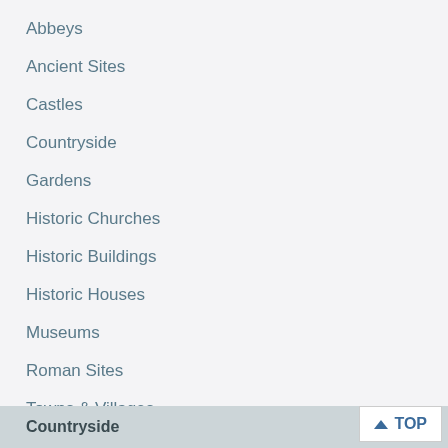Abbeys
Ancient Sites
Castles
Countryside
Gardens
Historic Churches
Historic Buildings
Historic Houses
Museums
Roman Sites
Towns & Villages
Countryside
TOP